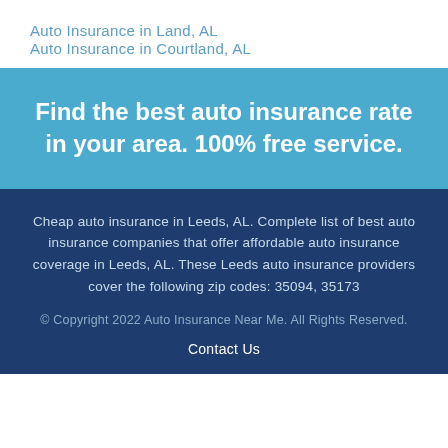Auto Insurance in Land, AL
Auto Insurance in Courtland, AL
Find the best auto insurance rate in your area. 100% free service.
Cheap auto insurance in Leeds, AL. Complete list of best auto insurance companies that offer affordable auto insurance coverage in Leeds, AL. These Leeds auto insurance providers cover the following zip codes: 35094, 35173
© Copyright 2022 Auto Insurance Near Me. All Rights Reserved.
Contact Us